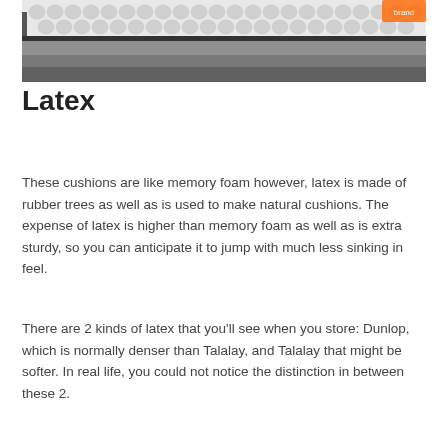[Figure (photo): Close-up photograph of mattress layers showing white honeycomb/hexagonal quilted fabric on top and gray foam layers below, with a zipper visible on the left side and a brand tag visible on the right side.]
Latex
These cushions are like memory foam however, latex is made of rubber trees as well as is used to make natural cushions. The expense of latex is higher than memory foam as well as is extra sturdy, so you can anticipate it to jump with much less sinking in feel.
There are 2 kinds of latex that you'll see when you store: Dunlop, which is normally denser than Talalay, and Talalay that might be softer. In real life, you could not notice the distinction in between these 2.